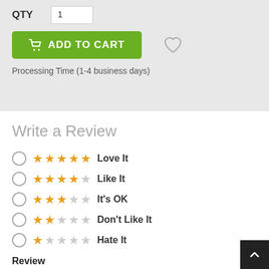QTY  1
ADD TO CART
Processing Time (1-4 business days)
Write a Review
Love It — 5 stars
Like It — 4 stars
It's OK — 3 stars
Don't Like It — 2 stars
Hate It — 1 star
Review
required